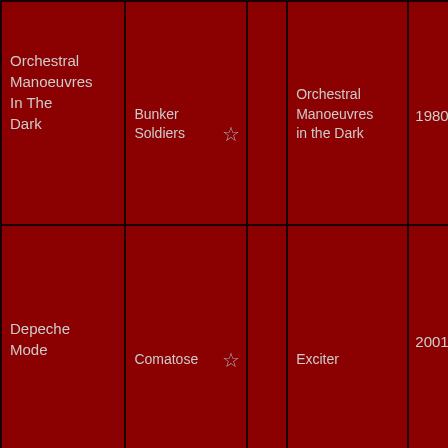| Artist | Song | ★ | Album | Year |  |  |
| --- | --- | --- | --- | --- | --- | --- |
| Orchestral Manoeuvres In The Dark | Bunker Soldiers | ☆ | Orchestral Manoeuvres in the Dark | 1980 |  |  |
| Depeche Mode | Comatose | ☆ | Exciter | 2001 |  | [photo] |